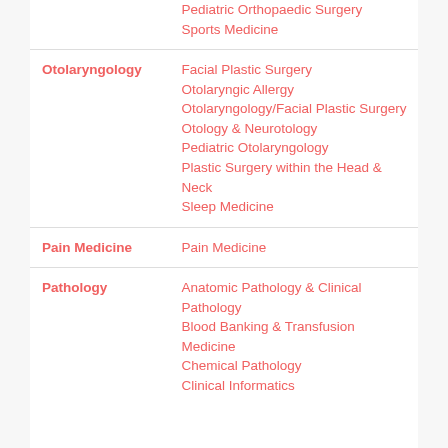| Specialty | Subspecialties |
| --- | --- |
|  | Pediatric Orthopaedic Surgery
Sports Medicine |
| Otolaryngology | Facial Plastic Surgery
Otolaryngic Allergy
Otolaryngology/Facial Plastic Surgery
Otology & Neurotology
Pediatric Otolaryngology
Plastic Surgery within the Head & Neck
Sleep Medicine |
| Pain Medicine | Pain Medicine |
| Pathology | Anatomic Pathology & Clinical Pathology
Blood Banking & Transfusion Medicine
Chemical Pathology
Clinical Informatics |